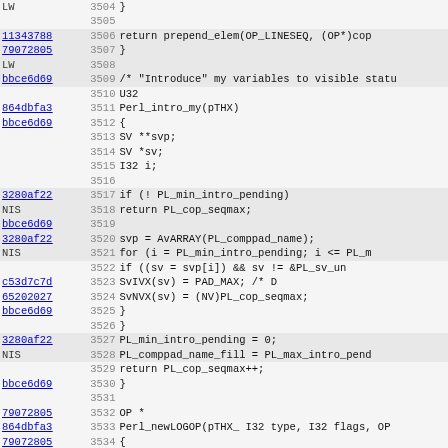Code listing showing source lines 3504-3535 with git blame annotations
| hash | lineno | code |
| --- | --- | --- |
| LW | 3504 | } |
|  | 3505 |  |
| 11343788 | 3506 |     return prepend_elem(OP_LINESEQ, (OP*)cop |
| 79072805 | 3507 | } |
| LW | 3508 |  |
| bbce6d69 | 3509 | /* "Introduce" my variables to visible statu |
|  | 3510 | U32 |
| 864dbfa3 | 3511 | Perl_intro_my(pTHX) |
| bbce6d69 | 3512 | { |
|  | 3513 |     SV **svp; |
|  | 3514 |     SV *sv; |
|  | 3515 |     I32 i; |
|  | 3516 |  |
| 3280af22 | 3517 |     if (! PL_min_intro_pending) |
| NIS | 3518 |         return PL_cop_seqmax; |
| bbce6d69 | 3519 |  |
| 3280af22 | 3520 |     svp = AvARRAY(PL_comppad_name); |
| NIS | 3521 |     for (i = PL_min_intro_pending; i <= PL_m |
|  | 3522 |         if ((sv = svp[i]) && sv != &PL_sv_un |
| c53d7c7d | 3523 |             SvIVX(sv) = PAD_MAX;        /* D |
| 65202027 | 3524 |             SvNVX(sv) = (NV)PL_cop_seqmax; |
| bbce6d69 | 3525 |         } |
|  | 3526 |     } |
| 3280af22 | 3527 |     PL_min_intro_pending = 0; |
| NIS | 3528 |     PL_comppad_name_fill = PL_max_intro_pend |
|  | 3529 |     return PL_cop_seqmax++; |
| bbce6d69 | 3530 | } |
|  | 3531 |  |
| 79072805 | 3532 | OP * |
| 864dbfa3 | 3533 | Perl_newLOGOP(pTHX_ I32 type, I32 flags, OP |
| 79072805 | 3534 | { |
| 883ffac3 | 3535 |     return new_logop(type, flags, &first, &o |